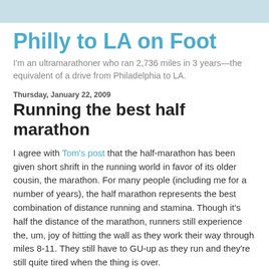Philly to LA on Foot
I'm an ultramarathoner who ran 2,736 miles in 3 years—the equivalent of a drive from Philadelphia to LA.
Thursday, January 22, 2009
Running the best half marathon
I agree with Tom's post that the half-marathon has been given short shrift in the running world in favor of its older cousin, the marathon. For many people (including me for a number of years), the half marathon represents the best combination of distance running and stamina. Though it's half the distance of the marathon, runners still experience the, um, joy of hitting the wall as they work their way through miles 8-11. They still have to GU-up as they run and they're still quite tired when the thing is over.
For many, 13.1 miles is the longest distance that they ever